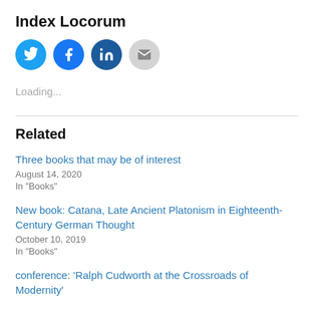Index Locorum
[Figure (illustration): Four social sharing icon circles: Twitter (blue bird), Facebook (blue f), LinkedIn (dark blue in), Email (gray envelope)]
Loading...
Related
Three books that may be of interest
August 14, 2020
In "Books"
New book: Catana, Late Ancient Platonism in Eighteenth-Century German Thought
October 10, 2019
In "Books"
conference: 'Ralph Cudworth at the Crossroads of Modernity'